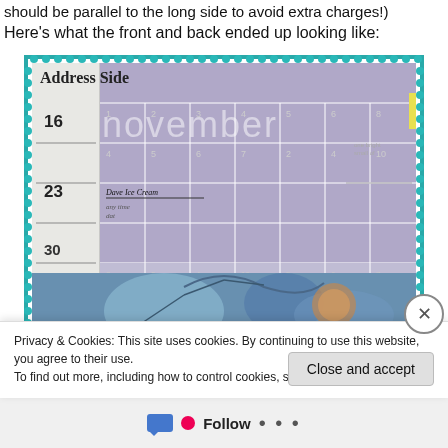should be parallel to the long side to avoid extra charges!)
Here’s what the front and back ended up looking like:
[Figure (photo): Photo showing the front and back of a postcard mailer. The front shows a November calendar planner with 'Address Side' label, dates 16, 23, 30 visible, with purple/lavender calendar grid and 'november' watermark text. A handwritten note reads 'Dave Ice Cream'. A yellow sticky tab is on the right edge. Below the calendar is a decorative art image with blue and earth tones.]
Privacy & Cookies: This site uses cookies. By continuing to use this website, you agree to their use.
To find out more, including how to control cookies, see here: Cookie Policy
Close and accept
Follow